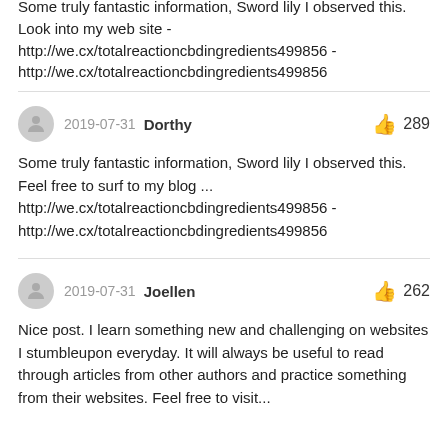Some truly fantastic information, Sword lily I observed this. Look into my web site - http://we.cx/totalreactioncbdingredients499856 - http://we.cx/totalreactioncbdingredients499856
2019-07-31  Dorthy  👍 289
Some truly fantastic information, Sword lily I observed this. Feel free to surf to my blog ... http://we.cx/totalreactioncbdingredients499856 - http://we.cx/totalreactioncbdingredients499856
2019-07-31  Joellen  👍 262
Nice post. I learn something new and challenging on websites I stumbleupon everyday. It will always be useful to read through articles from other authors and practice something from their websites. Feel free to visit...